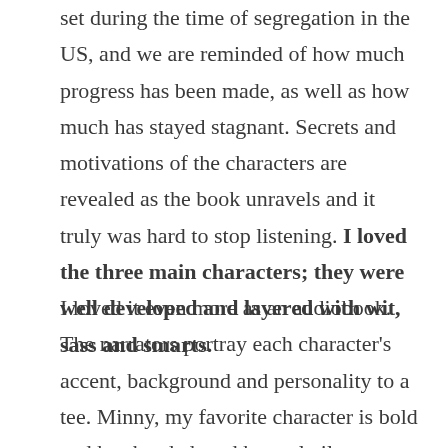set during the time of segregation in the US, and we are reminded of how much progress has been made, as well as how much has stayed stagnant. Secrets and motivations of the characters are revealed as the book unravels and it truly was hard to stop listening. I loved the three main characters; they were well developed and layered with wit, sass and smarts.
I loved it even more as an audiobook. The narrators portray each character's accent, background and personality to a tee. Minny, my favorite character is bold and hot-headed, and her volatile, no-nonsense